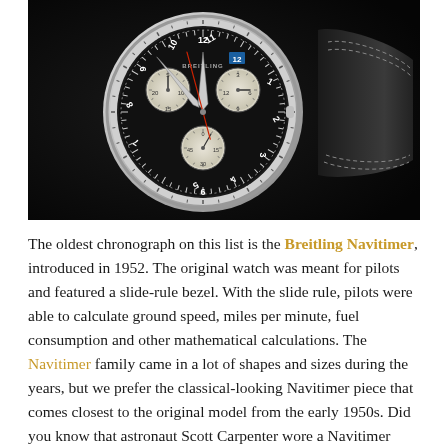[Figure (photo): Close-up photograph of a Breitling Navitimer chronograph watch with black dial, multiple sub-dials, a slide-rule bezel, and a black leather strap with white stitching, set against a dark background.]
The oldest chronograph on this list is the Breitling Navitimer, introduced in 1952. The original watch was meant for pilots and featured a slide-rule bezel. With the slide rule, pilots were able to calculate ground speed, miles per minute, fuel consumption and other mathematical calculations. The Navitimer family came in a lot of shapes and sizes during the years, but we prefer the classical-looking Navitimer piece that comes closest to the original model from the early 1950s. Did you know that astronaut Scott Carpenter wore a Navitimer when he